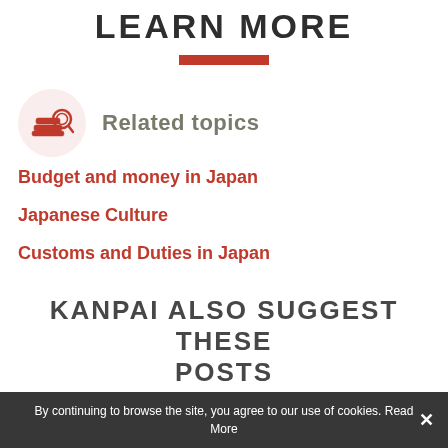LEARN MORE
Budget and money in Japan
Japanese Culture
Customs and Duties in Japan
KANPAI ALSO SUGGEST THESE POSTS
By continuing to browse the site, you agree to our use of cookies. Read More